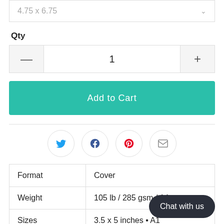4.75 x 6.75
Qty
1
Add to Cart
[Figure (infographic): Social share icons: Twitter, Facebook, Pinterest, Email]
| Format | Cover |
| Weight | 105 lb / 285 gsm / 14 |
| Sizes | 3.5 x 5 inches • A1 |
Chat with us